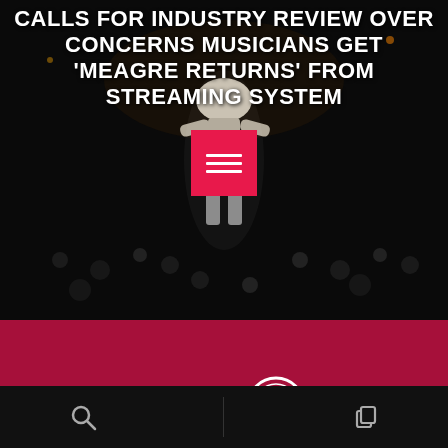CALLS FOR INDUSTRY REVIEW OVER CONCERNS MUSICIANS GET 'MEAGRE RETURNS' FROM STREAMING SYSTEM
[Figure (photo): Concert performer on stage with audience in dark background, with a red menu/hamburger icon overlay in the center]
[Figure (logo): The Hit Mix 107.5 radio station logo on crimson/dark red background with text 'more variety more of the time']
SEARCH | navigation bar with search and copy icons